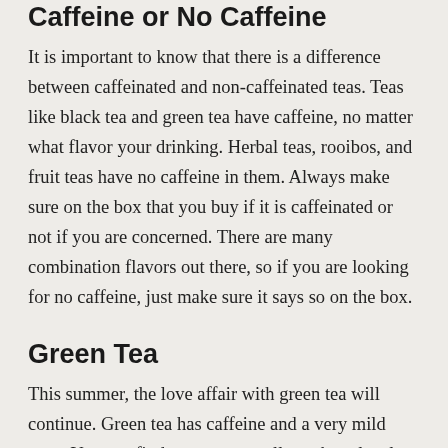Caffeine or No Caffeine
It is important to know that there is a difference between caffeinated and non-caffeinated teas. Teas like black tea and green tea have caffeine, no matter what flavor your drinking. Herbal teas, rooibos, and fruit teas have no caffeine in them. Always make sure on the box that you buy if it is caffeinated or not if you are concerned. There are many combination flavors out there, so if you are looking for no caffeine, just make sure it says so on the box.
Green Tea
This summer, the love affair with green tea will continue. Green tea has caffeine and a very mild taste. You can find green tea on all purchase levels. It is also possible to get the well-loved and healthy matcha green tea. Matcha is the crushed up baby tea leaves